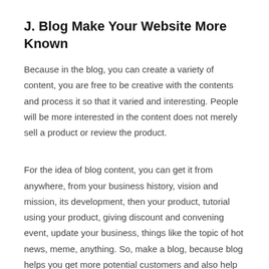J. Blog Make Your Website More Known
Because in the blog, you can create a variety of content, you are free to be creative with the contents and process it so that it varied and interesting. People will be more interested in the content does not merely sell a product or review the product.
For the idea of blog content, you can get it from anywhere, from your business history, vision and mission, its development, then your product, tutorial using your product, giving discount and convening event, update your business, things like the topic of hot news, meme, anything. So, make a blog, because blog helps you get more potential customers and also help increase product sales.